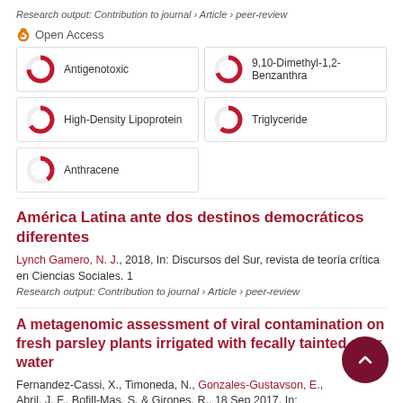Research output: Contribution to journal › Article › peer-review
Open Access
[Figure (infographic): Five fingerprint keyword badges with donut-style percentage charts: Antigenotoxic (~100%), 9,10-Dimethyl-1,2-Benzanthra (~95%), High-Density Lipoprotein (~90%), Triglyceride (~85%), Anthracene (~65%)]
América Latina ante dos destinos democráticos diferentes
Lynch Gamero, N. J., 2018, In: Discursos del Sur, revista de teoría crítica en Ciencias Sociales. 1
Research output: Contribution to journal › Article › peer-review
A metagenomic assessment of viral contamination on fresh parsley plants irrigated with fecally tainted river water
Fernandez-Cassi, X., Timoneda, N., Gonzales-Gustavson, E., Abril, J. F., Bofill-Mas, S. & Girones, R., 18 Sep 2017, In: